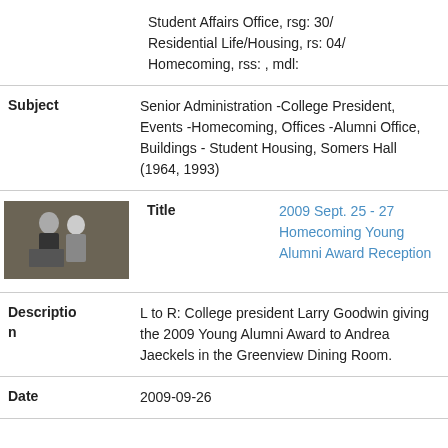Student Affairs Office, rsg: 30/ Residential Life/Housing, rs: 04/ Homecoming, rss: , mdl:
| Subject | Senior Administration -College President, Events -Homecoming, Offices -Alumni Office, Buildings - Student Housing, Somers Hall (1964, 1993) |
| Title | 2009 Sept. 25 - 27 Homecoming Young Alumni Award Reception |
| Description | L to R: College president Larry Goodwin giving the 2009 Young Alumni Award to Andrea Jaeckels in the Greenview Dining Room. |
| Date | 2009-09-26 |